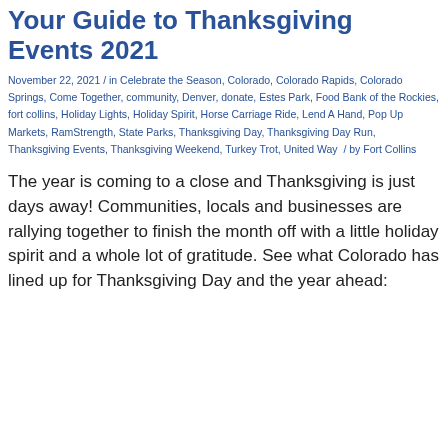Your Guide to Thanksgiving Events 2021
November 22, 2021 / in Celebrate the Season, Colorado, Colorado Rapids, Colorado Springs, Come Together, community, Denver, donate, Estes Park, Food Bank of the Rockies, fort collins, Holiday Lights, Holiday Spirit, Horse Carriage Ride, Lend A Hand, Pop Up Markets, RamStrength, State Parks, Thanksgiving Day, Thanksgiving Day Run, Thanksgiving Events, Thanksgiving Weekend, Turkey Trot, United Way / by Fort Collins
The year is coming to a close and Thanksgiving is just days away! Communities, locals and businesses are rallying together to finish the month off with a little holiday spirit and a whole lot of gratitude. See what Colorado has lined up for Thanksgiving Day and the year ahead: